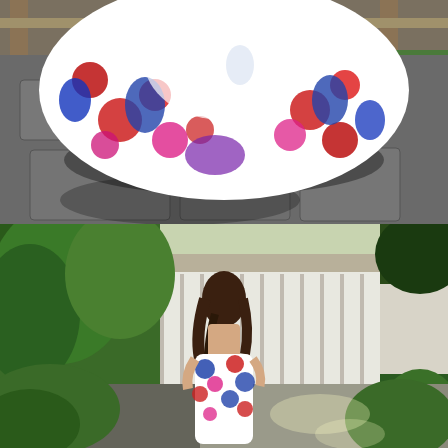[Figure (photo): Close-up photo of a woman wearing a white floral maxi dress with bold red, blue, and pink floral print. The dress skirt is spread out on a stone/paved garden path. Wooden fence post and green mossy ground visible in background. Outdoor setting, sunny day.]
[Figure (photo): Full-length photo of a woman from behind wearing the same white floral maxi dress with blue, red, and pink floral print. She is standing on a paved pathway in a Japanese-style garden with lush green shrubs, trees, and a white wooden pavilion/pergola structure in the background. Sunny outdoor setting.]